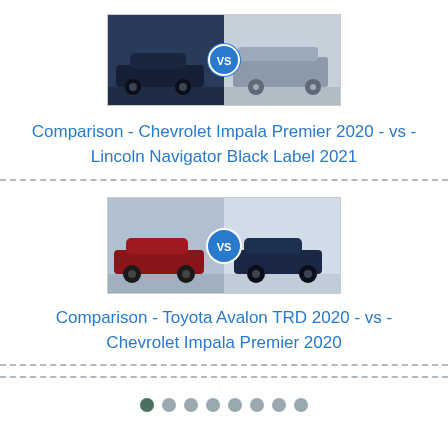[Figure (photo): Side-by-side comparison image of Chevrolet Impala Premier 2020 (dark blue sedan, left) vs Lincoln Navigator Black Label 2021 (silver SUV, right) with a blue VS badge in the center]
Comparison - Chevrolet Impala Premier 2020 - vs - Lincoln Navigator Black Label 2021
[Figure (photo): Side-by-side comparison image of Toyota Avalon TRD 2020 (red/dark car, left) vs Chevrolet Impala Premier 2020 (dark blue sedan, right) with a blue VS badge in the center]
Comparison - Toyota Avalon TRD 2020 - vs - Chevrolet Impala Premier 2020